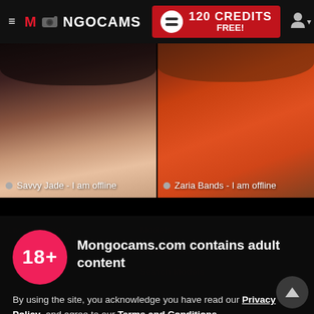≡ MONGOCAMS  120 CREDITS FREE!
[Figure (screenshot): Webcam thumbnail of Savvy Jade - I am offline]
[Figure (screenshot): Webcam thumbnail of Zaria Bands - I am offline]
Mongocams.com contains adult content
By using the site, you acknowledge you have read our Privacy Policy, and agree to our Terms and Conditions.
We use cookies to optimize your experience, analyze traffic, and deliver more personalized service. To learn more, please see our Privacy Policy.
I AGREE